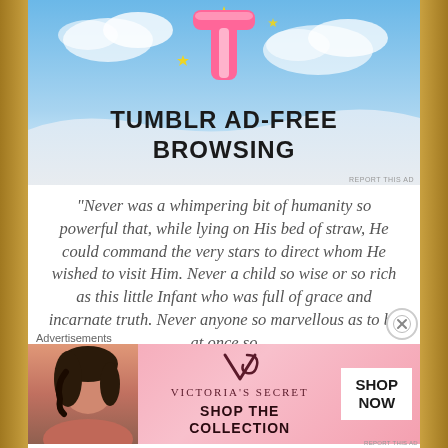[Figure (screenshot): Tumblr ad-free browsing advertisement banner with Tumblr 'T' logo on blue sky background and bold text 'TUMBLR AD-FREE BROWSING']
“Never was a whimpering bit of humanity so powerful that, while lying on His bed of straw, He could command the very stars to direct whom He wished to visit Him. Never a child so wise or so rich as this little Infant who was full of grace and incarnate truth. Never anyone so marvellous as to be at once so
Advertisements
[Figure (screenshot): Victoria's Secret advertisement with model, VS logo, 'SHOP THE COLLECTION' text, and 'SHOP NOW' button]